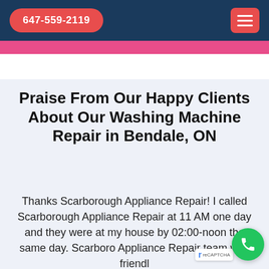647-559-2119
Praise From Our Happy Clients About Our Washing Machine Repair in Bendale, ON
Thanks Scarborough Appliance Repair! I called Scarborough Appliance Repair at 11 AM one day and they were at my house by 02:00-noon the same day. Scarborough Appliance Repair team was friendly